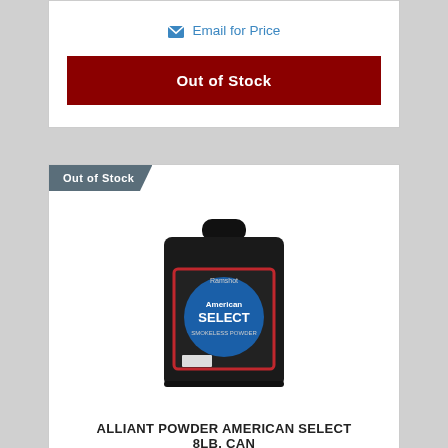Email for Price
Out of Stock
Out of Stock
[Figure (photo): Black jug/can of Alliant Powder American Select 8lb with blue circular label with red border]
ALLIANT POWDER AMERICAN SELECT 8LB. CAN
Alliant
Email for Price